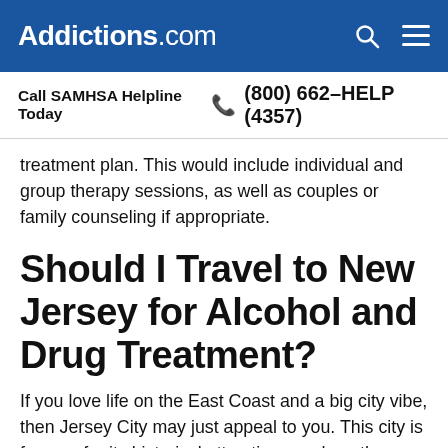Addictions.com
Call SAMHSA Helpline Today  (800) 662-HELP (4357)
treatment plan. This would include individual and group therapy sessions, as well as couples or family counseling if appropriate.
Should I Travel to New Jersey for Alcohol and Drug Treatment?
If you love life on the East Coast and a big city vibe, then Jersey City may just appeal to you. This city is famous for its historical attractions such as the Statue of Liberty and modern features such as the